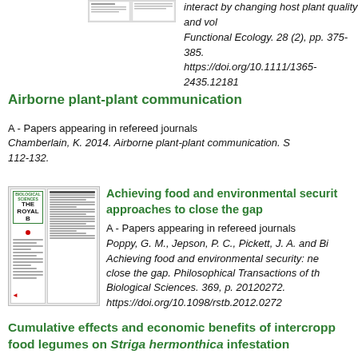interact by changing host plant quality and vol... Functional Ecology. 28 (2), pp. 375-385. https://doi.org/10.1111/1365-2435.12181
[Figure (screenshot): Thumbnail image of a document/article page]
Airborne plant-plant communication
A - Papers appearing in refereed journals
Chamberlain, K. 2014. Airborne plant-plant communication. S... 112-132.
[Figure (screenshot): Thumbnail image of a journal article with green B logo on cover and two-column layout]
Achieving food and environmental security: approaches to close the gap
A - Papers appearing in refereed journals
Poppy, G. M., Jepson, P. C., Pickett, J. A. and Bi... Achieving food and environmental security: ne... close the gap. Philosophical Transactions of th... Biological Sciences. 369, p. 20120272. https://doi.org/10.1098/rstb.2012.0272
Cumulative effects and economic benefits of intercropp... food legumes on Striga hermonthica infestation
A - Papers appearing in refereed journals